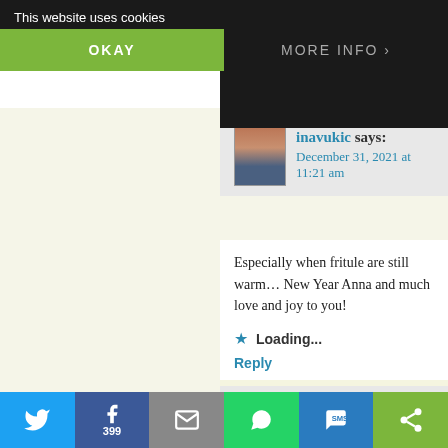This website uses cookies
OKAY
MORE INFO
[Figure (screenshot): Star icon followed by Loading... text]
Reply
[Figure (photo): Avatar photo of inavukic - woman with reddish-brown hair]
inavukic says:
December 31, 2021 at 11:21 am
Especially when fritule are still warm... New Year Anna and much love and joy to you!
[Figure (screenshot): Star icon followed by Loading... text]
Reply
[Figure (photo): Avatar photo of Robert Horvat - man with hat]
Robert Horvat says:
December 31, 2021 at 11:29 am
Sretna Nova godina. Nadam se da ćete...
[Figure (screenshot): Social share bar with Twitter, Facebook (399), Email, WhatsApp, SMS, and more icons]